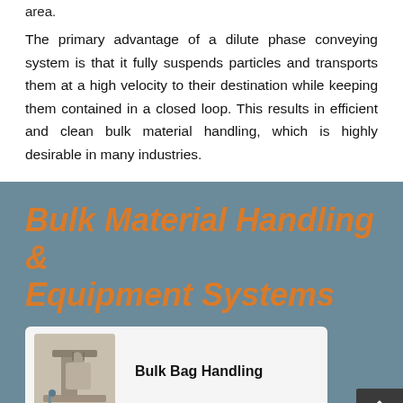area.
The primary advantage of a dilute phase conveying system is that it fully suspends particles and transports them at a high velocity to their destination while keeping them contained in a closed loop. This results in efficient and clean bulk material handling, which is highly desirable in many industries.
Bulk Material Handling & Equipment Systems
[Figure (photo): Industrial bulk bag handling machine/equipment photo]
Bulk Bag Handling